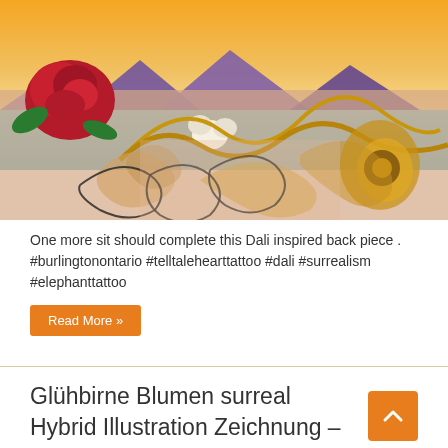[Figure (photo): Close-up photo of a colorful tattoo on skin — a Dali-inspired back piece featuring ornate golden filigree scrollwork, a red rose, white flowers, and a surreal landscape background with purple mountains, orange sky, and water.]
One more sit should complete this Dali inspired back piece . #burlingtonontario #telltalehearttattoo #dali #surrealism #elephanttattoo
Read More »
Glühbirne Blumen surreal Hybrid Illustration Zeichnung – Peggy Dean – Salvabrani… – #flowertattoos